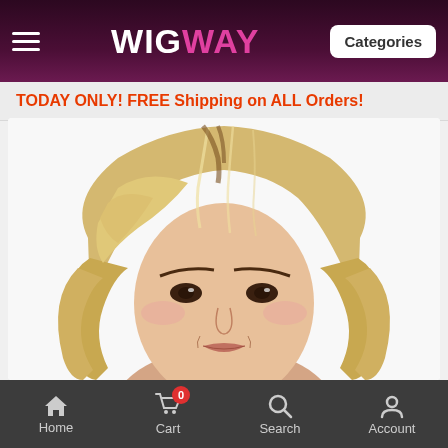WIGWAY — Categories
TODAY ONLY! FREE Shipping on ALL Orders!
[Figure (photo): Model wearing a short, layered, blonde wig with side-swept bangs, on a white background]
Home | Cart (0) | Search | Account